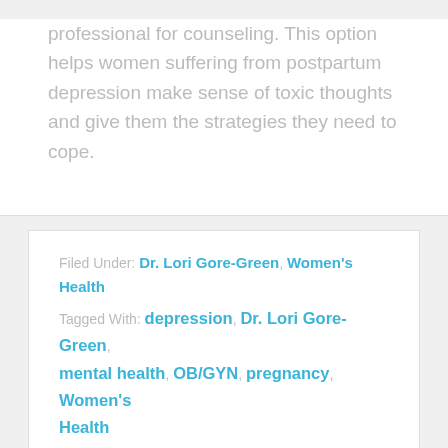professional for counseling. This option helps women suffering from postpartum depression make sense of toxic thoughts and give them the strategies they need to cope.
Filed Under: Dr. Lori Gore-Green, Women's Health Tagged With: depression, Dr. Lori Gore-Green, mental health, OB/GYN, pregnancy, Women's Health
Medical News